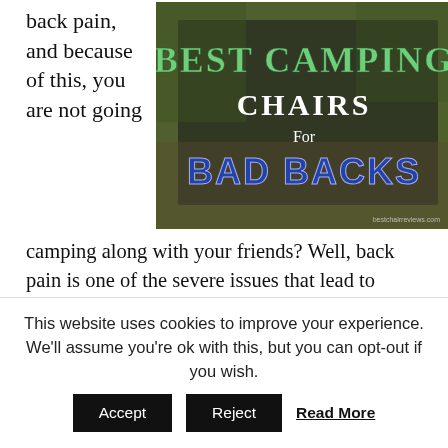back pain, and because of this, you are not going
[Figure (photo): Image of camping chairs outdoors with overlaid text reading 'Best Camping Chairs For Bad Backs' and watermark 'bestchairreviews.com']
camping along with your friends? Well, back pain is one of the severe issues that lead to many other health issues. But this is not the solution that you give up by not going camping. Having a comfortable camping chair for your bad back is a mandatory thing
This website uses cookies to improve your experience. We'll assume you're ok with this, but you can opt-out if you wish.
Accept | Reject | Read More